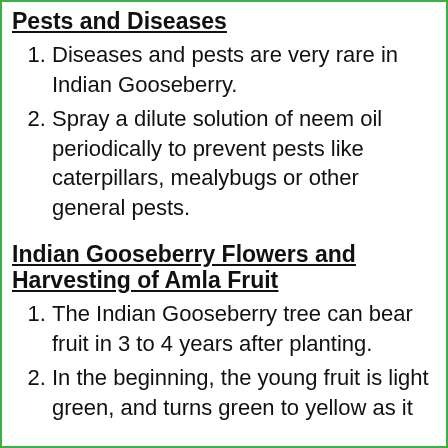Pests and Diseases
Diseases and pests are very rare in Indian Gooseberry.
Spray a dilute solution of neem oil periodically to prevent pests like caterpillars, mealybugs or other general pests.
Indian Gooseberry Flowers and Harvesting of Amla Fruit
The Indian Gooseberry tree can bear fruit in 3 to 4 years after planting.
In the beginning, the young fruit is light green, and turns green to yellow as it